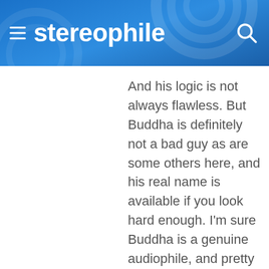stereophile
And his logic is not always flawless. But Buddha is definitely not a bad guy as are some others here, and his real name is available if you look hard enough. I'm sure Buddha is a genuine audiophile, and pretty sure he's not in the business. Versus some of the others who hide